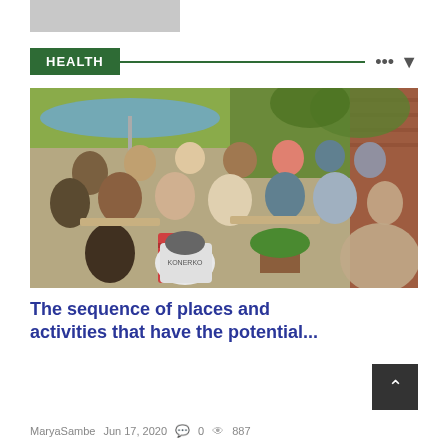[Figure (photo): Gray placeholder image thumbnail at top left]
HEALTH
[Figure (photo): Outdoor restaurant/bar patio scene with many people sitting at tables on a sunny day; person in foreground wearing a Konerko jersey; blue umbrellas, greenery, brick building in background]
The sequence of places and activities that have the potential...
MaryaSambe  Jun 17, 2020  0  887